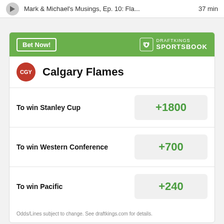Mark & Michael's Musings, Ep. 10: Fla...  37 min
[Figure (infographic): DraftKings Sportsbook betting widget for Calgary Flames showing odds: To win Stanley Cup +1800, To win Western Conference +700, To win Pacific +240]
[Figure (photo): Advertisement showing a person holding a brown leather handbag against a blue sky background]